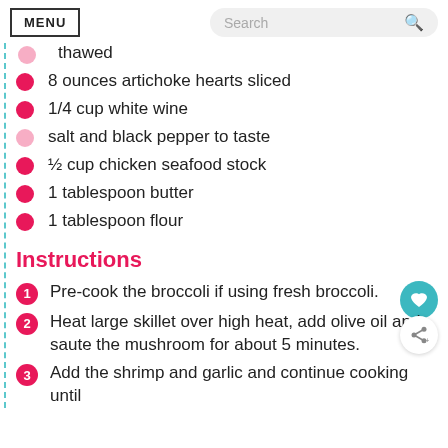MENU | Search
thawed
8 ounces artichoke hearts sliced
1/4 cup white wine
salt and black pepper to taste
½ cup chicken seafood stock
1 tablespoon butter
1 tablespoon flour
Instructions
1. Pre-cook the broccoli if using fresh broccoli.
2. Heat large skillet over high heat, add olive oil and saute the mushroom for about 5 minutes.
3. Add the shrimp and garlic and continue cooking until